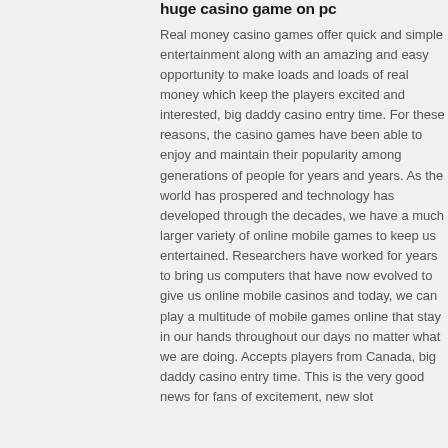huge casino game on pc
Real money casino games offer quick and simple entertainment along with an amazing and easy opportunity to make loads and loads of real money which keep the players excited and interested, big daddy casino entry time. For these reasons, the casino games have been able to enjoy and maintain their popularity among generations of people for years and years. As the world has prospered and technology has developed through the decades, we have a much larger variety of online mobile games to keep us entertained. Researchers have worked for years to bring us computers that have now evolved to give us online mobile casinos and today, we can play a multitude of mobile games online that stay in our hands throughout our days no matter what we are doing. Accepts players from Canada, big daddy casino entry time. This is the very good news for fans of excitement, new slot